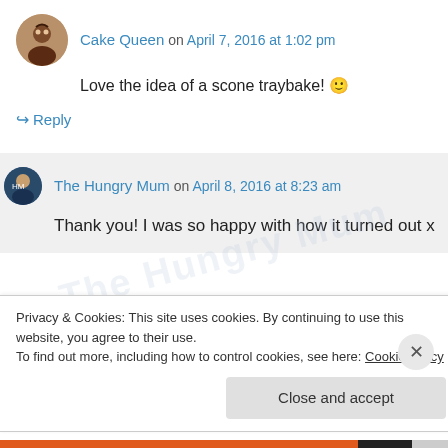Cake Queen on April 7, 2016 at 1:02 pm
Love the idea of a scone traybake! 🙂
↳ Reply
The Hungry Mum on April 8, 2016 at 8:23 am
Thank you! I was so happy with how it turned out x
Privacy & Cookies: This site uses cookies. By continuing to use this website, you agree to their use.
To find out more, including how to control cookies, see here: Cookie Policy
Close and accept